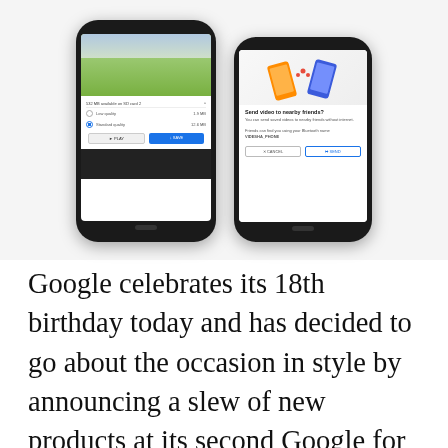[Figure (screenshot): Two Android smartphone screenshots side by side. Left phone shows a YouTube video download dialog with a cricket match video, options for Low quality (1.9 MB) and Standard quality (12.6 MB), with PLAY and SAVE buttons. Right phone shows a 'Send video to nearby friends?' dialog with CANCEL and SEND buttons.]
Google celebrates its 18th birthday today and has decided to go about the occasion in style by announcing a slew of new products at its second Google for India event. Most of the offerings are India-first and data-centric, with the company aiming to appeal to first-time